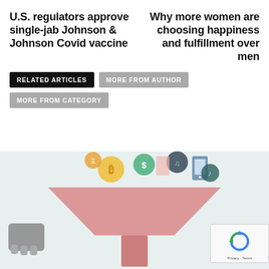U.S. regulators approve single-jab Johnson & Johnson Covid vaccine
Why more women are choosing happiness and fulfillment over men
RELATED ARTICLES
MORE FROM AUTHOR
MORE FROM CATEGORY
[Figure (illustration): Illustration of a hand holding a funnel with various cryptocurrency coins and financial elements falling into it, on a light blue background.]